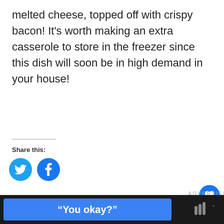melted cheese, topped off with crispy bacon! It's worth making an extra casserole to store in the freezer since this dish will soon be in high demand in your house!
Share this:
[Figure (illustration): Social sharing buttons: Twitter (blue bird icon) and Facebook (blue 'f' icon)]
[Figure (illustration): Advertisement banner: pink background with hearts and cat image, text 'FALL IN' visible, with a 'What's Next: Easy Chicken Stir Fry' overlay]
[Figure (screenshot): Bottom dark bar with blue button reading 'You okay?' and a small logo on the right]